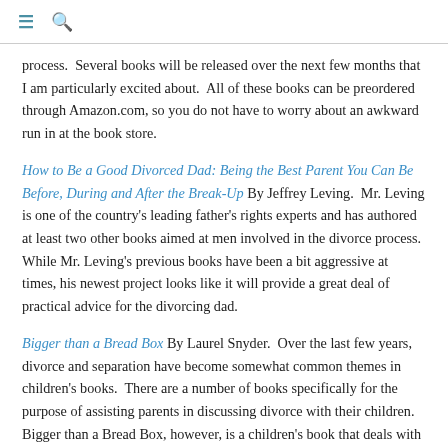≡ 🔍
process.  Several books will be released over the next few months that I am particularly excited about.  All of these books can be preordered through Amazon.com, so you do not have to worry about an awkward run in at the book store.
How to Be a Good Divorced Dad: Being the Best Parent You Can Be Before, During and After the Break-Up By Jeffrey Leving.  Mr. Leving is one of the country's leading father's rights experts and has authored at least two other books aimed at men involved in the divorce process.  While Mr. Leving's previous books have been a bit aggressive at times, his newest project looks like it will provide a great deal of practical advice for the divorcing dad.
Bigger than a Bread Box By Laurel Snyder.  Over the last few years, divorce and separation have become somewhat common themes in children's books.  There are a number of books specifically for the purpose of assisting parents in discussing divorce with their children.  Bigger than a Bread Box, however, is a children's book that deals with